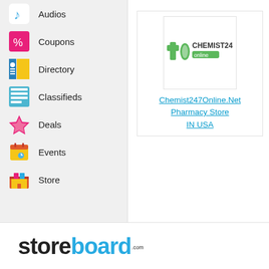Audios
Coupons
Directory
Classifieds
Deals
Events
Store
[Figure (logo): Chemist247 Online logo - green cross and pill icon with text CHEMIST247 online]
Chemist247Online.Net Pharmacy Store IN USA
[Figure (logo): Storeboard.com logo - store in black, board in blue, .com small]